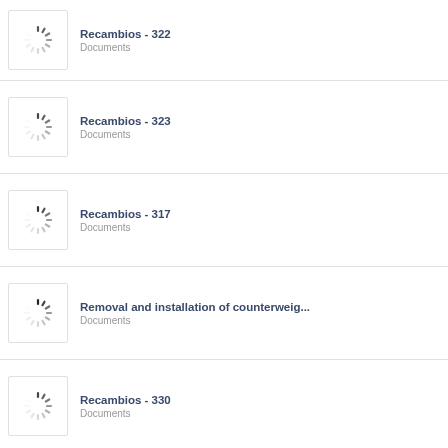Recambios - 322
Documents
Recambios - 323
Documents
Recambios - 317
Documents
Removal and installation of counterweig...
Documents
Recambios - 330
Documents